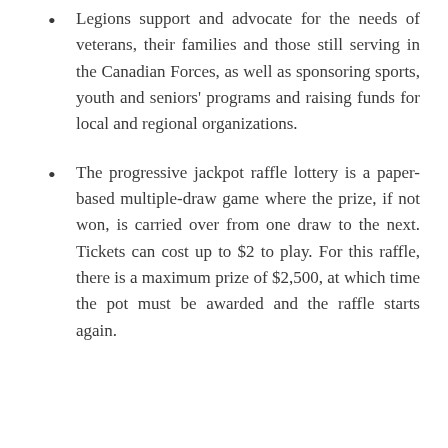Legions support and advocate for the needs of veterans, their families and those still serving in the Canadian Forces, as well as sponsoring sports, youth and seniors' programs and raising funds for local and regional organizations.
The progressive jackpot raffle lottery is a paper-based multiple-draw game where the prize, if not won, is carried over from one draw to the next. Tickets can cost up to $2 to play. For this raffle, there is a maximum prize of $2,500, at which time the pot must be awarded and the raffle starts again.